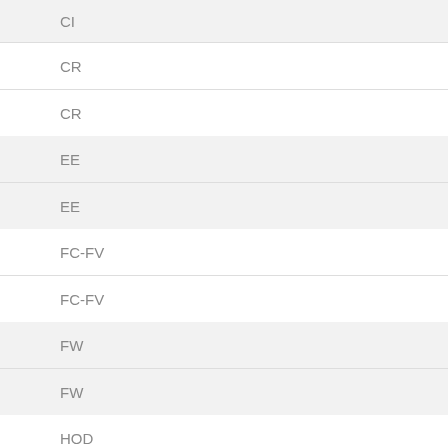CI
CR
CR
EE
EE
FC-FV
FC-FV
FW
FW
HOD